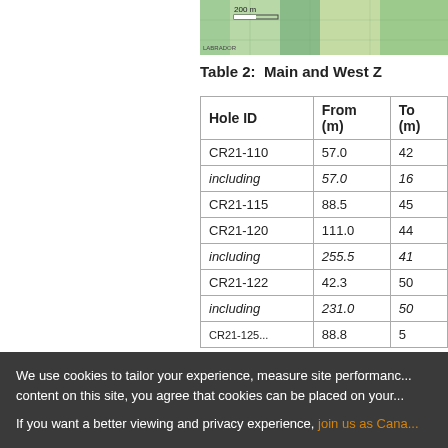[Figure (map): Partial map strip showing a green-shaded geological/aerial map with a 200 m scale bar and grid label.]
Table 2:  Main and West Z...
| Hole ID | From (m) | To (m) |
| --- | --- | --- |
| CR21-110 | 57.0 | 42... |
| including | 57.0 | 16... |
| CR21-115 | 88.5 | 45... |
| CR21-120 | 111.0 | 44... |
| including | 255.5 | 41... |
| CR21-122 | 42.3 | 50... |
| including | 231.0 | 50... |
| CR21-125 ... | 88.8 | 5... |
We use cookies to tailor your experience, measure site performance... content on this site, you agree that cookies can be placed on your...
If you want a better viewing and privacy experience, join us as Cana...